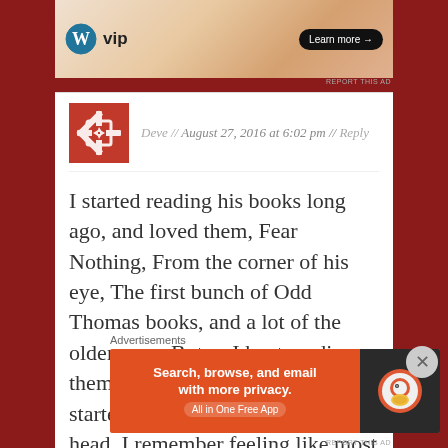[Figure (screenshot): WordPress VIP advertisement banner at top of page]
Deve // August 27, 2016 at 6:02 pm // Reply
I started reading his books long ago, and loved them, Fear Nothing, From the corner of his eye, The first bunch of Odd Thomas books, and a lot of the older ones. But as I kept reading them it felt like way too many started to blend together in my head. I remember feeling like most of his books were about some kind of
Advertisements
[Figure (screenshot): DuckDuckGo advertisement: Search, browse, and email with more privacy. All in One Free App]